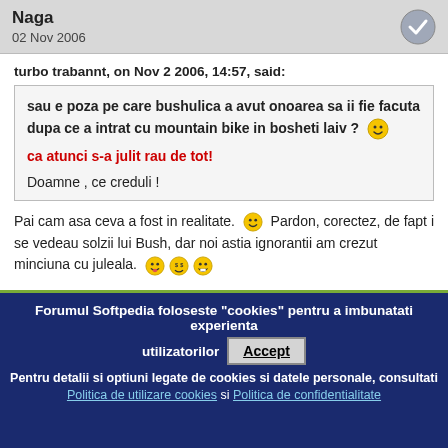Naga
02 Nov 2006
turbo trabannt, on Nov 2 2006, 14:57, said:
sau e poza pe care bushulica a avut onoarea sa ii fie facuta dupa ce a intrat cu mountain bike in bosheti laiv ?

ca atunci s-a julit rau de tot!

Doamne , ce creduli !
Pai cam asa ceva a fost in realitate. Pardon, corectez, de fapt i se vedeau solzii lui Bush, dar noi astia ignorantii am crezut minciuna cu juleala.
Forumul Softpedia foloseste "cookies" pentru a imbunatati experienta utilizatorilor
Accept
Pentru detalii si optiuni legate de cookies si datele personale, consultati Politica de utilizare cookies si Politica de confidentialitate